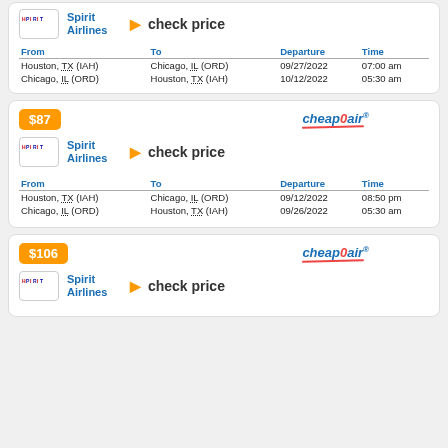| From | To | Departure | Time |
| --- | --- | --- | --- |
| Houston, TX (IAH) | Chicago, IL (ORD) | 09/27/2022 | 07:00 am |
| Chicago, IL (ORD) | Houston, TX (IAH) | 10/12/2022 | 05:30 am |
[Figure (other): Spirit Airlines flight listing card with $87 price badge, CheapOair logo, check price link]
| From | To | Departure | Time |
| --- | --- | --- | --- |
| Houston, TX (IAH) | Chicago, IL (ORD) | 09/12/2022 | 08:50 pm |
| Chicago, IL (ORD) | Houston, TX (IAH) | 09/26/2022 | 05:30 am |
[Figure (other): Spirit Airlines flight listing card with $106 price badge, CheapOair logo, check price link]